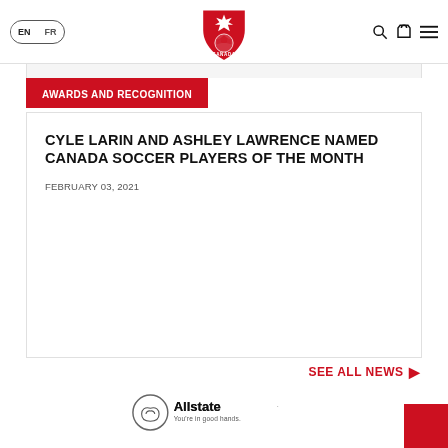EN | FR — Canada Soccer logo — search, cart, menu icons
AWARDS AND RECOGNITION
CYLE LARIN AND ASHLEY LAWRENCE NAMED CANADA SOCCER PLAYERS OF THE MONTH
FEBRUARY 03, 2021
SEE ALL NEWS
[Figure (logo): Allstate — You're in good hands. logo]
[Figure (other): Red square in bottom right corner]